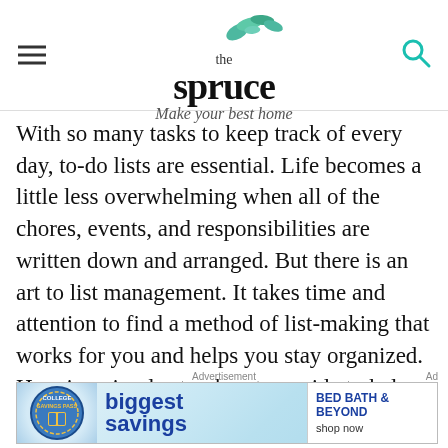[Figure (logo): The Spruce logo with green leaf illustration above, tagline 'Make your best home' in script font, hamburger menu icon on left, search icon on right]
With so many tasks to keep track of every day, to-do lists are essential. Life becomes a little less overwhelming when all of the chores, events, and responsibilities are written down and arranged. But there is an art to list management. It takes time and attention to find a method of list-making that works for you and helps you stay organized. Here is a simple step-by-step guide to help you create a clear and organized to-do list.
[Figure (infographic): Advertisement banner: College Savings Pass badge on left, 'biggest savings' text in bold blue, Bed Bath & Beyond logo on right with 'shop now' text]